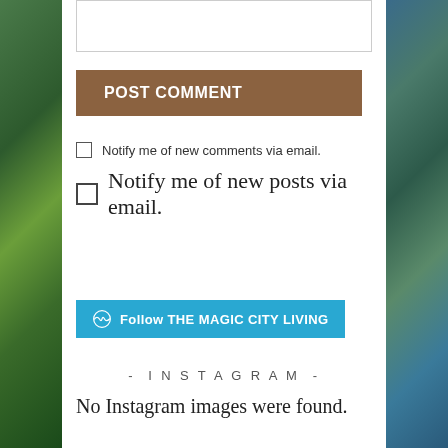[Figure (other): Empty comment text area box at top]
POST COMMENT
Notify me of new comments via email.
Notify me of new posts via email.
Follow THE MAGIC CITY LIVING
- INSTAGRAM -
No Instagram images were found.